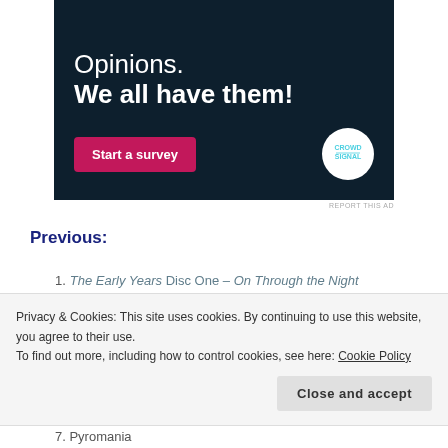[Figure (other): Advertisement banner with dark navy background. Text reads 'Opinions. We all have them!' with a pink 'Start a survey' button and CrowdSignal logo (white circle with teal text).]
REPORT THIS AD
Previous:
1. The Early Years Disc One – On Through the Night
2. The Early Years Disc Two – High N' Dry
3. The Early Years Disc Three – When The Walls Came Tumbling
Privacy & Cookies: This site uses cookies. By continuing to use this website, you agree to their use. To find out more, including how to control cookies, see here: Cookie Policy
Close and accept
7. Pyromania